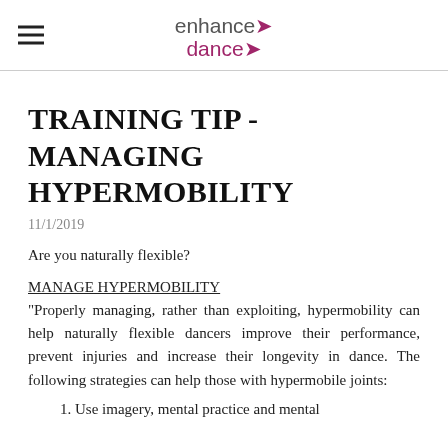enhance dance
TRAINING TIP - MANAGING HYPERMOBILITY
11/1/2019
Are you naturally flexible?
MANAGE HYPERMOBILITY
"Properly managing, rather than exploiting, hypermobility can help naturally flexible dancers improve their performance, prevent injuries and increase their longevity in dance. The following strategies can help those with hypermobile joints:
1. Use imagery, mental practice and mental